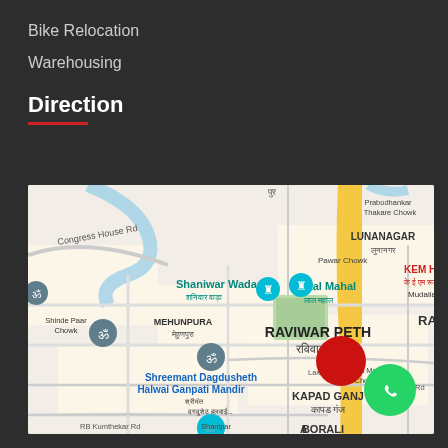Bike Relocation
Warehousing
Direction
[Figure (map): Google Maps view showing Pune area including Shaniwar Wada, Lal Mahal, Raviwar Peth, LUNANAGAR, MEHUNPURA, Shreemant Dagdusheth Halwai Ganpati Mandir, KAPAD GANJ, BORALI, KEM Hospital, Congress House Rd, with road network and landmarks]